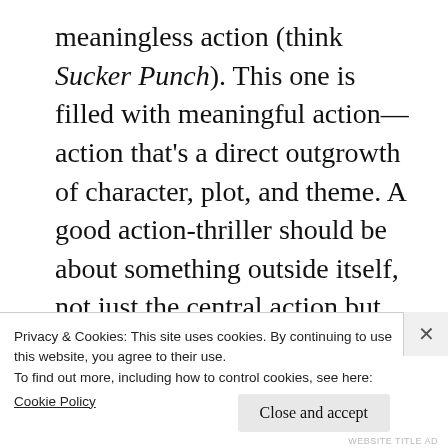meaningless action (think Sucker Punch). This one is filled with meaningful action—action that's a direct outgrowth of character, plot, and theme. A good action-thriller should be about something outside itself, not just the central action but the world outside that action. It's one reason Hitchcock was so good. The Birds is not only about the attack of the birds but about the community that's under attack. Hanna is about family ties—the ties that bind and the ties that cut off the circulation.
Privacy & Cookies: This site uses cookies. By continuing to use this website, you agree to their use.
To find out more, including how to control cookies, see here:
Cookie Policy
Close and accept